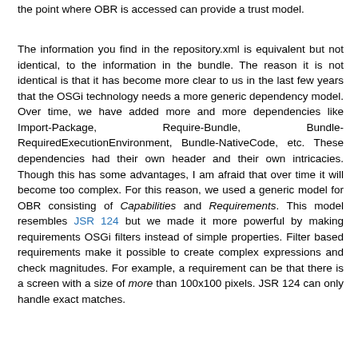the point where OBR is accessed can provide a trust model.
The information you find in the repository.xml is equivalent but not identical, to the information in the bundle. The reason it is not identical is that it has become more clear to us in the last few years that the OSGi technology needs a more generic dependency model. Over time, we have added more and more dependencies like Import-Package, Require-Bundle, Bundle-RequiredExecutionEnvironment, Bundle-NativeCode, etc. These dependencies had their own header and their own intricacies. Though this has some advantages, I am afraid that over time it will become too complex. For this reason, we used a generic model for OBR consisting of Capabilities and Requirements. This model resembles JSR 124 but we made it more powerful by making requirements OSGi filters instead of simple properties. Filter based requirements make it possible to create complex expressions and check magnitudes. For example, a requirement can be that there is a screen with a size of more than 100x100 pixels. JSR 124 can only handle exact matches.